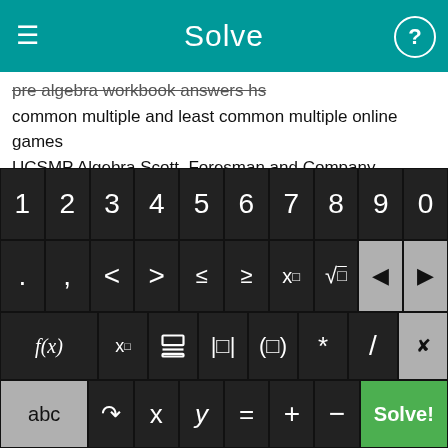Solve
pre algebra workbook answers hs
common multiple and least common multiple online games
UCSMP Algebra Scott, Foresman and Company Chapter 2 Test, Form B
saxon algebra 1 help problems
teaching time adding and subtracting
hard algebra math problem
calculator that works out rational expressions
why does the inequality sign change when both sides are multiplied or divided by a negative number
College Algebra Made Easy
[Figure (screenshot): A math calculator keyboard with number row (1-0), symbol row (<, >, ≤, ≥, x², √), function row (f(x), x subscript, fraction, absolute value, parentheses, *, /), and bottom row (abc, undo, x, y, =, +, -, Solve! button)]